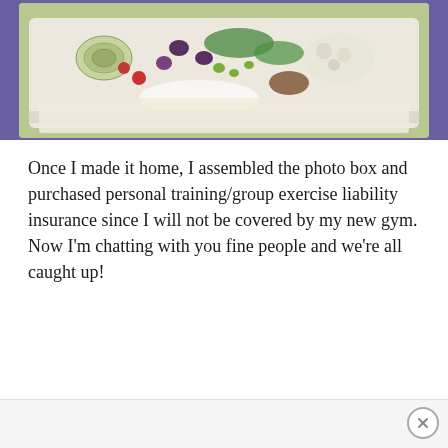[Figure (photo): A white plate/tray containing a colorful salad with artichoke hearts, olives, cherry tomatoes, edamame, greens and other vegetables, placed on a blue cloth background]
Once I made it home, I assembled the photo box and purchased personal training/group exercise liability insurance since I will not be covered by my new gym. Now I'm chatting with you fine people and we're all caught up!